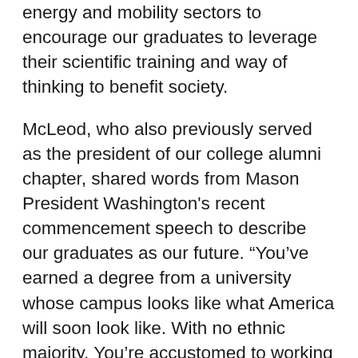energy and mobility sectors to encourage our graduates to leverage their scientific training and way of thinking to benefit society.
McLeod, who also previously served as the president of our college alumni chapter, shared words from Mason President Washington's recent commencement speech to describe our graduates as our future. “You’ve earned a degree from a university whose campus looks like what America will soon look like. With no ethnic majority. You’re accustomed to working and collaborating across cultures and diversity of origin, identity, circumstance and thought. This allows you to see the world more completely, think more creatively, and examine ful…